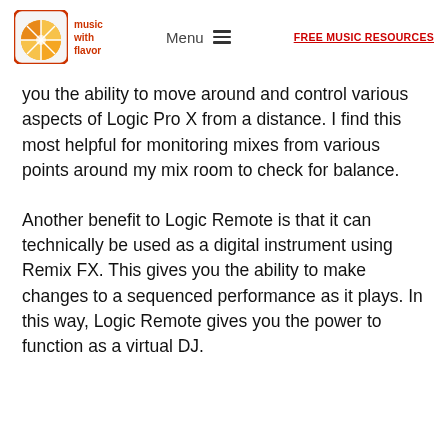music with flavor | Menu | FREE MUSIC RESOURCES
you the ability to move around and control various aspects of Logic Pro X from a distance. I find this most helpful for monitoring mixes from various points around my mix room to check for balance.
Another benefit to Logic Remote is that it can technically be used as a digital instrument using Remix FX. This gives you the ability to make changes to a sequenced performance as it plays. In this way, Logic Remote gives you the power to function as a virtual DJ.